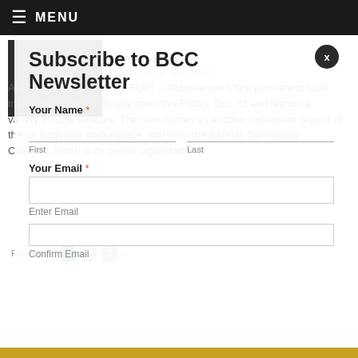≡ MENU
[Figure (logo): News 13 logo, dark background with large stylized number 13]
Set to Open Friday ▶
ALBUQUERQUE, N.M. (KRQE) – Albuquerque's first permanent food truck park is set to officially open this Friday, Oct. 23 and feature a variety of local vendors. The park comes as another expansion project of the La Esquinita marketplace, and from the Barelas Community Coalition, which is its parent organization.
Page 1 of 3  1  2  3  »
Subscribe to BCC Newsletter
Your Name *
First
Last
Your Email *
Enter Email
Confirm Email